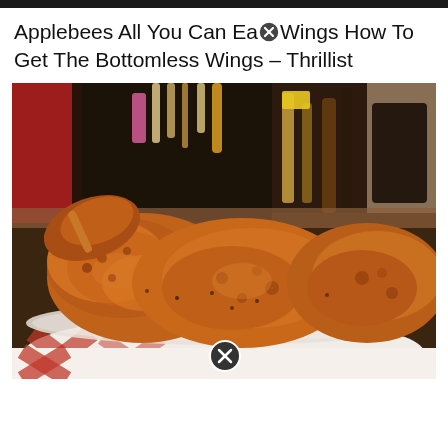[Figure (photo): Narrow black bar at top of page]
Applebees All You Can Eat Wings How To Get The Bottomless Wings – Thrillist
[Figure (photo): Close-up photo of fried chicken wings with orange/red sauce in a red-and-white checkered basket, with a blurred bar background. A circular close/X button icon is overlaid at the bottom center.]